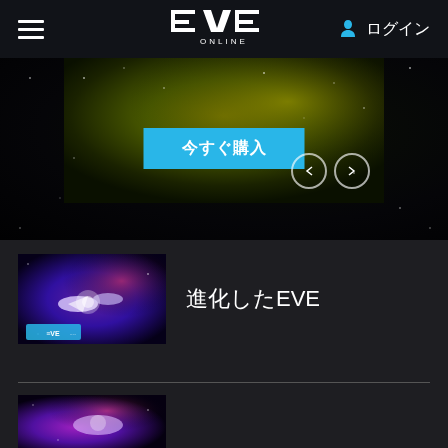EVE Online navigation bar with hamburger menu, EVE ONLINE logo, and ログイン (Login) button
[Figure (screenshot): Banner with yellow-green space nebula background and cyan 今すぐ購入 (Buy Now) button, with left/right navigation arrows]
[Figure (screenshot): Thumbnail image showing EVE Online game art with spaceships and purple/red nebula, with EVE logo overlay]
進化したEVE
[Figure (screenshot): Partial thumbnail showing EVE Online game art with purple/pink nebula and spaceship]